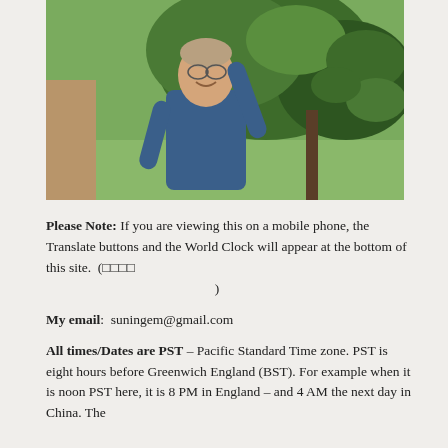[Figure (photo): Outdoor photo of a man in a blue short-sleeve shirt smiling and reaching up toward tree branches with green leaves, standing in a garden or orchard setting.]
Please Note: If you are viewing this on a mobile phone, the Translate buttons and the World Clock will appear at the bottom of this site.  (□□□□
                                    )
My email:  suningem@gmail.com
All times/Dates are PST – Pacific Standard Time zone. PST is eight hours before Greenwich England (BST). For example when it is noon PST here, it is 8 PM in England – and 4 AM the next day in China. The